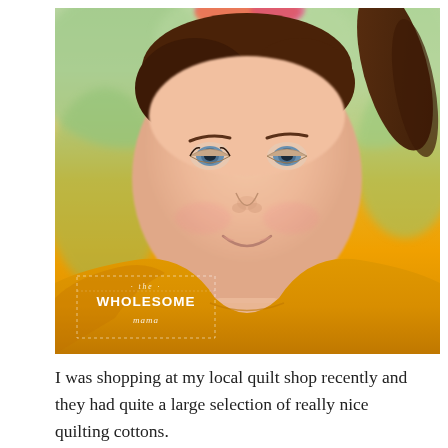[Figure (photo): Close-up portrait of a young girl with blue eyes, brown hair in a ponytail, wearing a yellow/mustard crew-neck t-shirt, photographed against a soft green blurred background. A watermark overlay in the lower-left reads 'the WHOLESOME mama' inside a dashed rectangular border.]
I was shopping at my local quilt shop recently and they had quite a large selection of really nice quilting cottons.